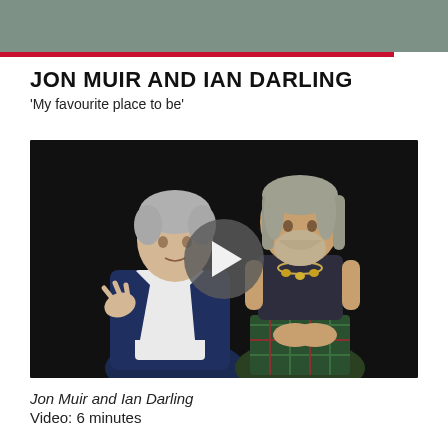JON MUIR AND IAN DARLING
'My favourite place to be'
[Figure (photo): Two men seated and in conversation on a dark stage. The man on the left wears a blazer and white shirt, gesturing with his hands. The man on the right has long grey hair, a beard, and wears a dark sleeveless top with a necklace, wearing a tartan kilt. A circular play button overlay is centered on the image.]
Jon Muir and Ian Darling
Video: 6 minutes